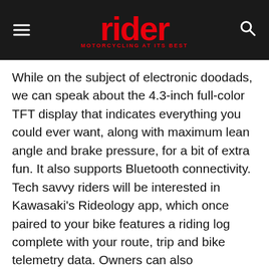rider — MOTORCYCLING AT ITS BEST
While on the subject of electronic doodads, we can speak about the 4.3-inch full-color TFT display that indicates everything you could ever want, along with maximum lean angle and brake pressure, for a bit of extra fun. It also supports Bluetooth connectivity. Tech savvy riders will be interested in Kawasaki's Rideology app, which once paired to your bike features a riding log complete with your route, trip and bike telemetry data. Owners can also
customize motorcycle settings as well.
Privacy Preferences
I Agree
The Ninja 1000SX's communicative aluminum parameter chassis and … 6.7-inch wheel